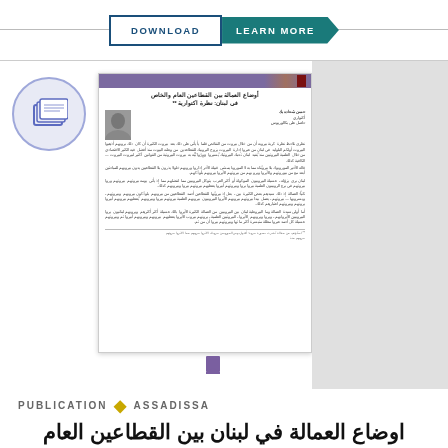[Figure (screenshot): Top navigation bar with DOWNLOAD button (outlined) and LEARN MORE button (teal arrow shape)]
[Figure (illustration): Circular icon with stacked books/documents illustration in purple/blue tones]
[Figure (screenshot): Preview of Arabic-language academic document page with purple header bar, Arabic title, author photo, and Arabic body text]
[Figure (illustration): Small purple bookmark/page icon below document preview]
PUBLICATION ◆ ASSADISSA
اوضاع العمالة في لبنان بين القطاعين العام والخاص: نظرة اكتوارية
The Conditions of Workers in Lebanon